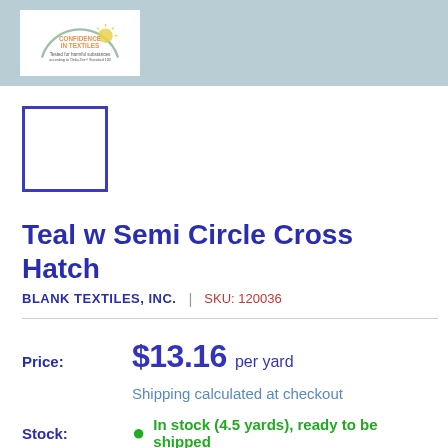[Figure (logo): Oeko-Tex Confidence in Textiles certification badge on a teal/blue-grey banner background]
[Figure (other): Product thumbnail image placeholder — empty white box with dark blue/indigo border]
Teal w Semi Circle Cross Hatch
BLANK TEXTILES, INC.   |   SKU: 120036
Price:   $13.16 per yard
Shipping calculated at checkout
Stock:  • In stock (4.5 yards), ready to be shipped